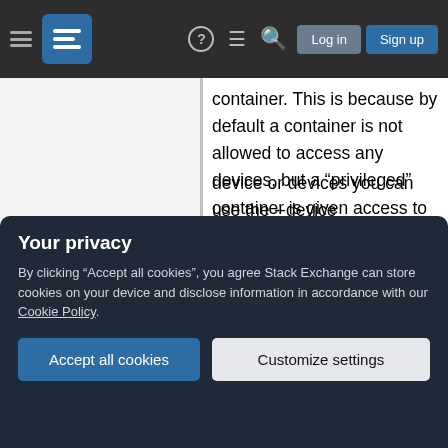Stack Exchange navigation bar with hamburger menu, logo, help, chat, search, Log in, Sign up
container. This is because by default a container is not allowed to access any devices, but a “privileged” container is given access to all devices (see the documentation on cgroups devices).
When the operator executes docker run --privileged, Docker will enable access to all devices on the host as well as set some configuration in AppArmor or SELinux to allow the container nearly all the same
device or devices you can use the --device
Your privacy
By clicking “Accept all cookies”, you agree Stack Exchange can store cookies on your device and disclose information in accordance with our Cookie Policy.
Accept all cookies
Customize settings